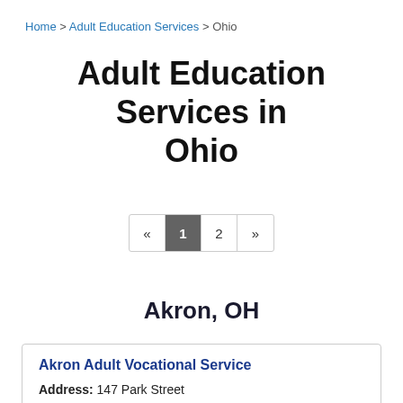Home > Adult Education Services > Ohio
Adult Education Services in Ohio
« 1 2 »
Akron, OH
Akron Adult Vocational Service
Address: 147 Park Street